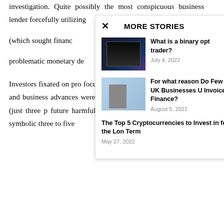investigation. Quite possibly the most conspicuous business lender forcefully utilizing (which sought financ problematic monetary de
Investors fixated on pro focus on an essential v diminish rapidly and business advances were had next to zero value real money (just three p future harmful resources if any descending varia symbolic three to five numerous business land esteems decline by 40 to 50 percent during the beyond two years. Business land is ending up the
MORE STORIES
[Figure (photo): Laptop with financial charts on screen, dark background]
What is a binary opt trader?
July 4, 2022
[Figure (photo): Person using calculator next to financial documents on blue background]
For what reason Do Few UK Businesses U Invoice Finance?
August 5, 2021
The Top 5 Cryptocurrencies to Invest in for the Lon Term
May 27, 2022